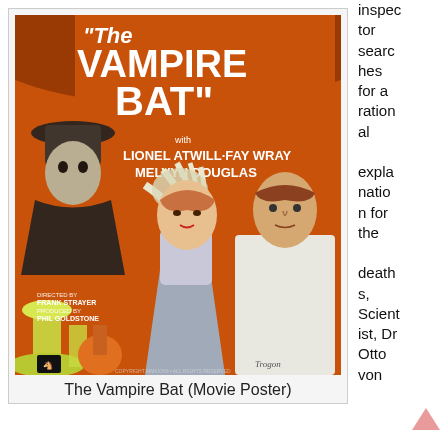[Figure (illustration): Movie poster for 'The Vampire Bat' featuring Lionel Atwill, Fay Wray, Melvyn Douglas. Orange background with characters from the film including a shadowy figure with a claw hand, a woman, and a man in a white lab coat. Directed by Frank Strayer, Produced by Phil Goldstone.]
The Vampire Bat (Movie Poster)
inspector searches for a rational explanation for the deaths, Scientist, Dr Otto von